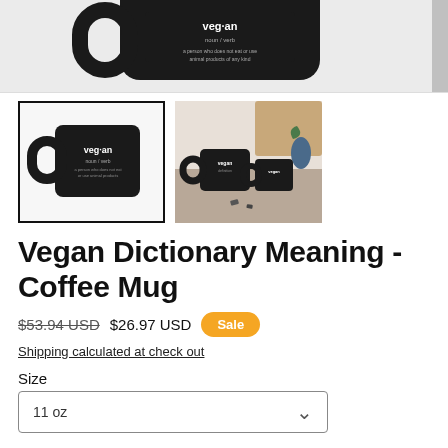[Figure (photo): Top portion of a black coffee mug shown cropped at top of page, with a light gray background and a dark right-side scrollbar strip.]
[Figure (photo): Thumbnail 1 (selected, with black border): Black coffee mug with 'vegan' dictionary definition text on it, white background.]
[Figure (photo): Thumbnail 2: Two black coffee mugs with vegan definition text, styled on a wooden desk with plants in the background.]
Vegan Dictionary Meaning - Coffee Mug
$53.94 USD  $26.97 USD  Sale
Shipping calculated at check out
Size
11 oz